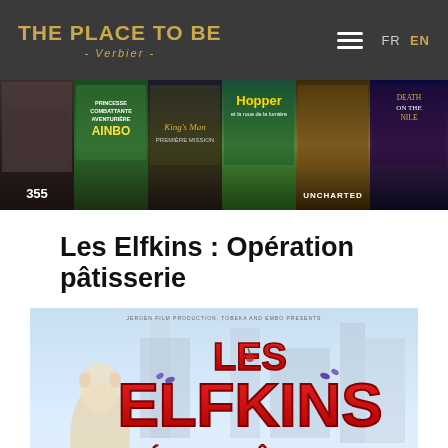THE PLACE TO BE - Verbier - FR EN
[Figure (screenshot): Movie poster strip showing 6 film posters: 355, AINBO (Princesse Combattante Aventurière), King's Man (Première Mission), Hopper (et la roue de la lumière), Uncharted, Death on the Nile]
Les Elfkins : Opération pâtisserie
[Figure (photo): Movie poster for Les Elfkins: Opération Pâtisserie showing red 3D stylized text 'LES ELFKINS' with subtitle 'OPÉRATION PÂTISSERIE' against a light blue background with character figures]